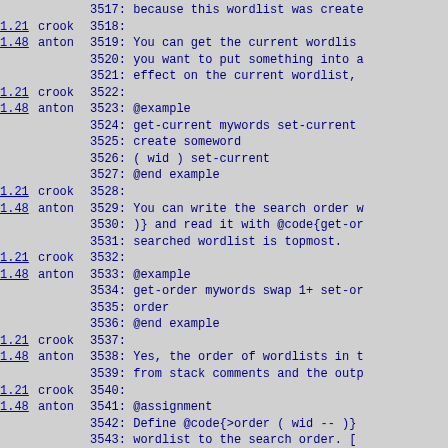Code listing lines 3517-3546 with version annotations (crook/anton) and line numbers